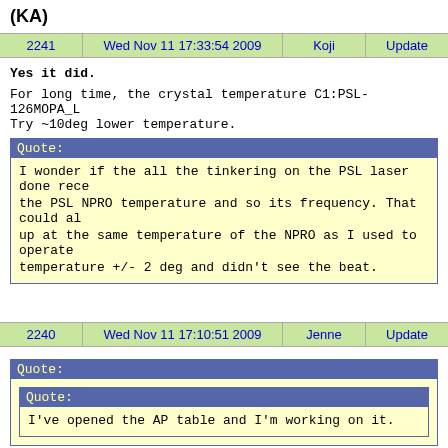(KA)
| 2241 | Wed Nov 11 17:33:54 2009 | Koji | Update |
| --- | --- | --- | --- |
Yes it did.

For long time, the crystal temperature C1:PSL-126MOPA_L
Try ~10deg lower temperature.
Quote: I wonder if the all the tinkering on the PSL laser done rece the PSL NPRO temperature and so its frequency. That could al up at the same temperature of the NPRO as I used to operate temperature +/- 2 deg and didn't see the beat.
| 2240 | Wed Nov 11 17:10:51 2009 | Jenne | Update |
| --- | --- | --- | --- |
Quote: Quote: I've opened the AP table and I'm working on it.

I re-aligned the Faraday on the AP table. I also aligned...